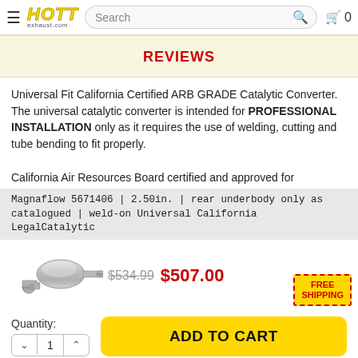HOTT exhaust.com — Search — Cart 0
REVIEWS
Universal Fit California Certified ARB GRADE Catalytic Converter. The universal catalytic converter is intended for PROFESSIONAL INSTALLATION only as it requires the use of welding, cutting and tube bending to fit properly.

California Air Resources Board certified and approved for
Magnaflow 5671406 | 2.50in. | rear underbody only as catalogued | weld-on Universal California LegalCatalytic
[Figure (photo): Catalytic converter product photo, metallic silver, cylindrical shape with pipe inlet]
$534.99 $507.00 — FREE SHIPPING
Quantity: 1
ADD TO CART